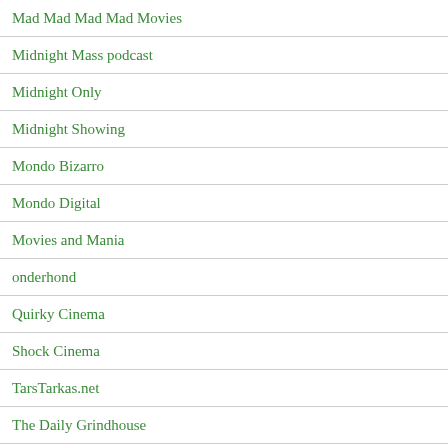Mad Mad Mad Mad Movies
Midnight Mass podcast
Midnight Only
Midnight Showing
Mondo Bizarro
Mondo Digital
Movies and Mania
onderhond
Quirky Cinema
Shock Cinema
TarsTarkas.net
The Daily Grindhouse
The Dungeon Dugout